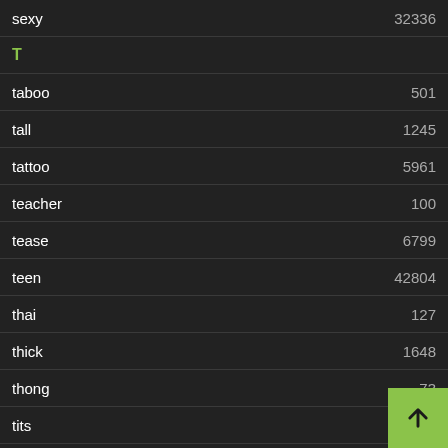| term | count |
| --- | --- |
| sexy | 32336 |
| T |  |
| taboo | 501 |
| tall | 1245 |
| tattoo | 5961 |
| teacher | 100 |
| tease | 6799 |
| teen | 42804 |
| thai | 127 |
| thick | 1648 |
| thong | 73 |
| tits | 8062 |
| U |  |
| ugly | 36 |
| upskirt |  |